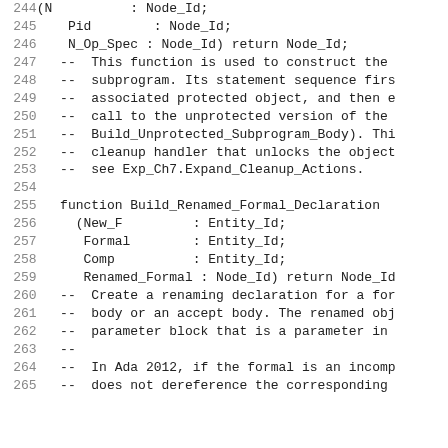Code listing lines 244-265 showing Ada source code with function declarations Build_Renamed_Formal_Declaration and comments
| line | code |
| --- | --- |
| 244 |    (N          : Node_Id; |
| 245 |     Pid         : Node_Id; |
| 246 |     N_Op_Spec : Node_Id) return Node_Id; |
| 247 |    --  This function is used to construct the |
| 248 |    --  subprogram. Its statement sequence firs |
| 249 |    --  associated protected object, and then e |
| 250 |    --  call to the unprotected version of the |
| 251 |    --  Build_Unprotected_Subprogram_Body). Thi |
| 252 |    --  cleanup handler that unlocks the object |
| 253 |    --  see Exp_Ch7.Expand_Cleanup_Actions. |
| 254 |  |
| 255 |    function Build_Renamed_Formal_Declaration |
| 256 |      (New_F         : Entity_Id; |
| 257 |       Formal        : Entity_Id; |
| 258 |       Comp          : Entity_Id; |
| 259 |       Renamed_Formal : Node_Id) return Node_Id |
| 260 |    --  Create a renaming declaration for a for |
| 261 |    --  body or an accept body. The renamed obj |
| 262 |    --  parameter block that is a parameter in |
| 263 |    -- |
| 264 |    --  In Ada 2012, if the formal is an incomp |
| 265 |    --  does not dereference the corresponding |